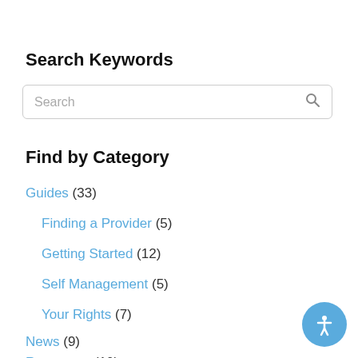Search Keywords
[Figure (other): Search input box with placeholder text 'Search' and a search icon on the right]
Find by Category
Guides (33)
Finding a Provider (5)
Getting Started (12)
Self Management (5)
Your Rights (7)
News (9)
Resources (10)